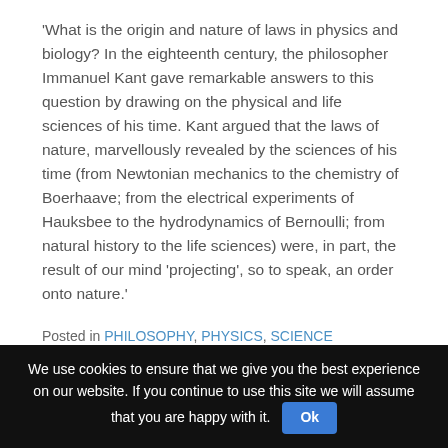'What is the origin and nature of laws in physics and biology? In the eighteenth century, the philosopher Immanuel Kant gave remarkable answers to this question by drawing on the physical and life sciences of his time. Kant argued that the laws of nature, marvellously revealed by the sciences of his time (from Newtonian mechanics to the chemistry of Boerhaave; from the electrical experiments of Hauksbee to the hydrodynamics of Bernoulli; from natural history to the life sciences) were, in part, the result of our mind 'projecting', so to speak, an order onto nature.'
Posted in PHILOSOPHY, PHYSICS, SCIENCE
FOLLOW VIA EMAIL
We use cookies to ensure that we give you the best experience on our website. If you continue to use this site we will assume that you are happy with it. Ok